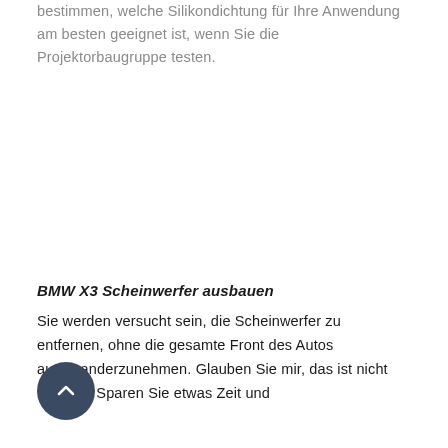bestimmen, welche Silikondichtung für Ihre Anwendung am besten geeignet ist, wenn Sie die Projektorbaugruppe testen.
BMW X3 Scheinwerfer ausbauen
Sie werden versucht sein, die Scheinwerfer zu entfernen, ohne die gesamte Front des Autos auseinanderzunehmen. Glauben Sie mir, das ist nicht möglich. Sparen Sie etwas Zeit und